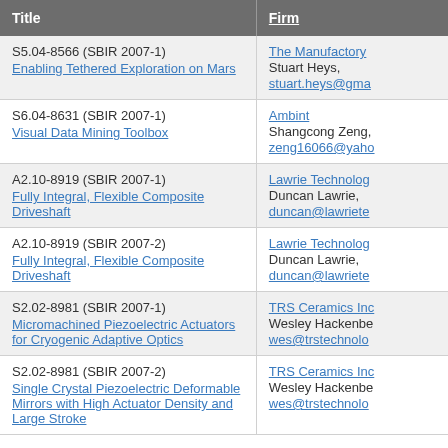| Title | Firm |
| --- | --- |
| S5.04-8566 (SBIR 2007-1)
Enabling Tethered Exploration on Mars | The Manufactory
Stuart Heys,
stuart.heys@gma... |
| S6.04-8631 (SBIR 2007-1)
Visual Data Mining Toolbox | Ambint
Shangcong Zeng,
zeng16066@yaho... |
| A2.10-8919 (SBIR 2007-1)
Fully Integral, Flexible Composite Driveshaft | Lawrie Technolog...
Duncan Lawrie,
duncan@lawriete... |
| A2.10-8919 (SBIR 2007-2)
Fully Integral, Flexible Composite Driveshaft | Lawrie Technolog...
Duncan Lawrie,
duncan@lawriete... |
| S2.02-8981 (SBIR 2007-1)
Micromachined Piezoelectric Actuators for Cryogenic Adaptive Optics | TRS Ceramics Inc...
Wesley Hackenbe...
wes@trstechnolo... |
| S2.02-8981 (SBIR 2007-2)
Single Crystal Piezoelectric Deformable Mirrors with High Actuator Density and Large Stroke | TRS Ceramics Inc...
Wesley Hackenbe...
wes@trstechnolo... |